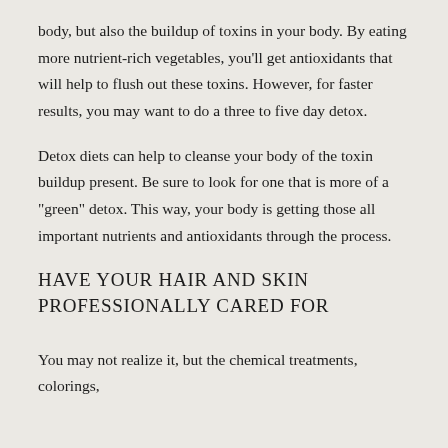body, but also the buildup of toxins in your body. By eating more nutrient-rich vegetables, you'll get antioxidants that will help to flush out these toxins. However, for faster results, you may want to do a three to five day detox.
Detox diets can help to cleanse your body of the toxin buildup present. Be sure to look for one that is more of a "green" detox. This way, your body is getting those all important nutrients and antioxidants through the process.
HAVE YOUR HAIR AND SKIN PROFESSIONALLY CARED FOR
You may not realize it, but the chemical treatments, colorings,